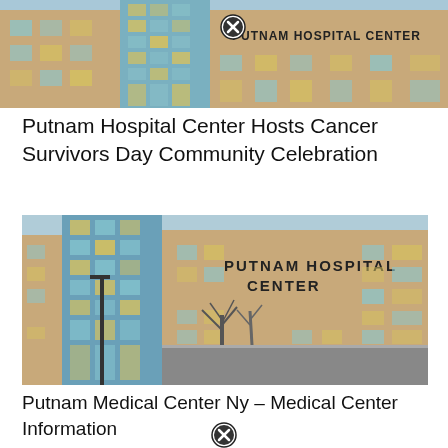[Figure (photo): Exterior photo of Putnam Hospital Center building facade with glass and brick, blue sky background. A close-up icon (circled X) overlaid on the image.]
Putnam Hospital Center Hosts Cancer Survivors Day Community Celebration
[Figure (photo): Exterior photo of Putnam Hospital Center building showing signage 'PUTNAM HOSPITAL CENTER', brick and glass facade, bare trees in foreground, dusk/evening lighting.]
Putnam Medical Center Ny – Medical Center Information
[Figure (other): Close icon (circled X button) at bottom of page]